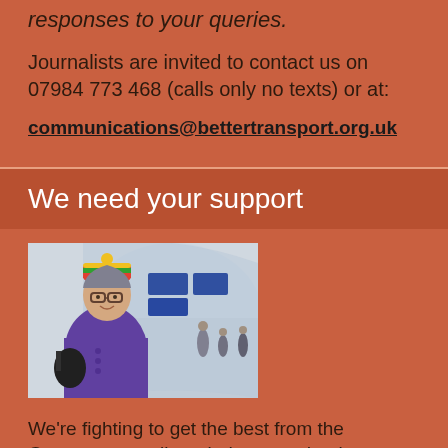responses to your queries.
Journalists are invited to contact us on 07984 773 468 (calls only no texts) or at:
communications@bettertransport.org.uk
We need your support
[Figure (photo): An older woman wearing a colourful knitted hat and purple coat, standing in a train station tunnel with information screens and commuters visible in the background.]
We're fighting to get the best from the Government, railway industry and train